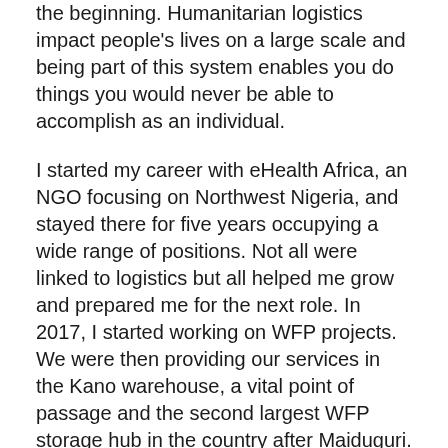the beginning. Humanitarian logistics impact people's lives on a large scale and being part of this system enables you do things you would never be able to accomplish as an individual.
I started my career with eHealth Africa, an NGO focusing on Northwest Nigeria, and stayed there for five years occupying a wide range of positions. Not all were linked to logistics but all helped me grow and prepared me for the next role. In 2017, I started working on WFP projects. We were then providing our services in the Kano warehouse, a vital point of passage and the second largest WFP storage hub in the country after Maiduguri. I was making sure food operations were running smoothly and standards were being met. I enjoyed the work and knowing that this food was heading to the most vulnerable populations in Northeast Nigeria gave me a sense of fulfilment. After eHealth Africa became a service provider for the